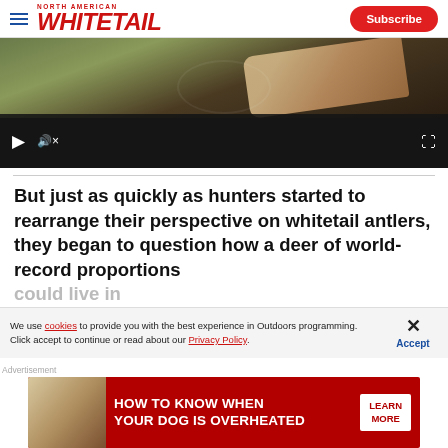North American Whitetail — Subscribe
[Figure (screenshot): Video player showing a person holding a hunting-related item, with play, mute, and expand controls at the bottom on a dark background.]
But just as quickly as hunters started to rearrange their perspective on whitetail antlers, they began to question how a deer of world-record proportions
We use cookies to provide you with the best experience in Outdoors programming. Click accept to continue or read about our Privacy Policy.
Advertisement
[Figure (other): Advertisement banner: HOW TO KNOW WHEN YOUR DOG IS OVERHEATED — LEARN MORE, with a dog image on dark red background.]